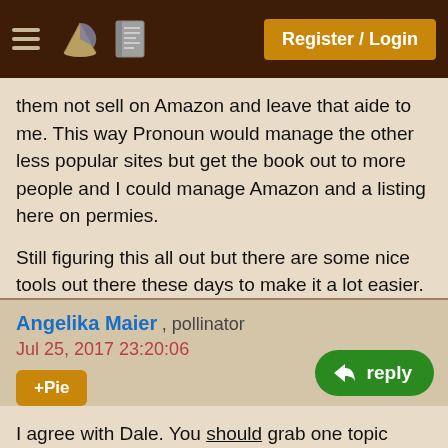Register / Login
them not sell on Amazon and leave that aide to me. This way Pronoun would manage the other less popular sites but get the book out to more people and I could manage Amazon and a listing here on permies.

Still figuring this all out but there are some nice tools out there these days to make it a lot easier.
Angelika Maier , pollinator
Jul 25, 2017 23:20:06
+Pie
I agree with Dale. You should grab one topic which you are interested in not general gardening or permaculture. One very nice targeted topic you must have a lot of practical experience in it and as well a lot of theretical knowledge. You get a lot of information f... but often there is little practical knowledge behind these articles, often written by people who tried things out